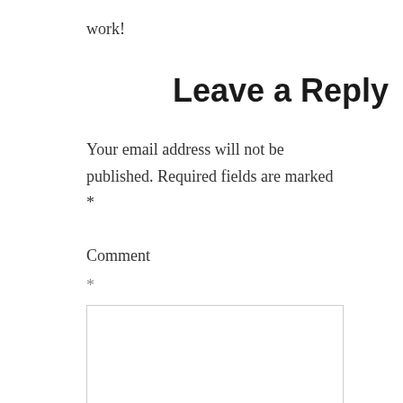work!
Leave a Reply
Your email address will not be published. Required fields are marked *
Comment
*